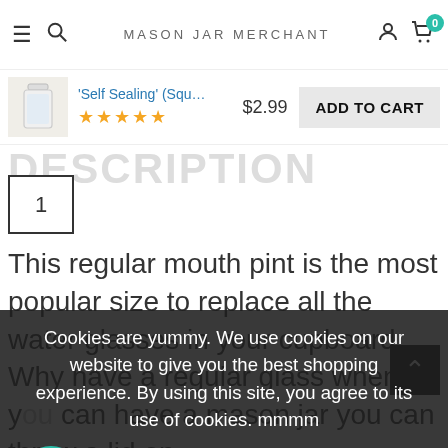MASON JAR MERCHANT
[Figure (screenshot): Product sticky bar showing mason jar thumbnail, product name 'Self Sealing' (Squ..., star rating, $2.99 price, and ADD TO CART button]
DESCRIPTION
1
This regular mouth pint is the most popular size to replace all the water glasses in your cupboard.  Why have a regular glass when you can have a mason jar you can throw a lid on
Cookies are yummy. We use cookies on our website to give you the best shopping experience. By using this site, you agree to its use of cookies. mmmm
PRIVACY POLICY
ACCEPT ✔